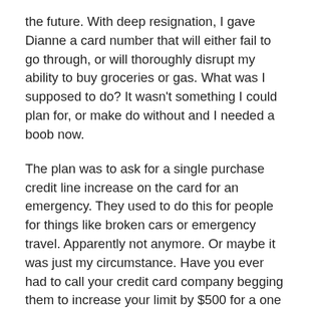the future.  With deep resignation, I gave Dianne a card number that will either fail to go through, or will thoroughly disrupt my ability to buy groceries or gas.  What was I supposed to do?  It wasn't something I could plan for, or make do without and I needed a boob now.
The plan was to ask for a single purchase credit line increase on the card for an emergency.  They used to do this for people for things like broken cars or emergency travel.  Apparently not anymore.  Or maybe it was just my circumstance. Have you ever had to call your credit card company begging them to increase your limit by $500 for a one time emergency purchase from Nordstrom's?  I will warn you—they laugh.  And they don't raise your limit.
Insurance needs to change how it handles prosthetics and deductibles.  Women should not have